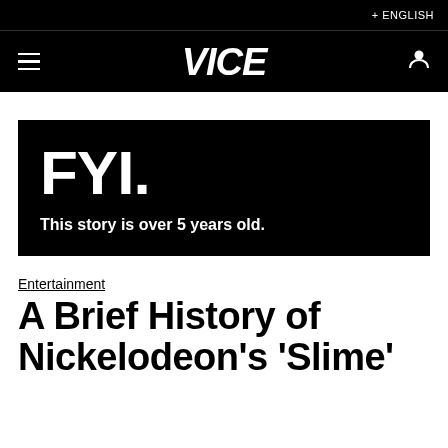+ ENGLISH
[Figure (logo): VICE website navigation bar with hamburger menu icon, VICE logo in bold italic white text, and user account icon on black background]
[Figure (infographic): FYI banner on black background with large bold white text 'FYI.' and subtitle 'This story is over 5 years old.']
Entertainment
A Brief History of Nickelodeon&#39;s &#39;Slime&#39;